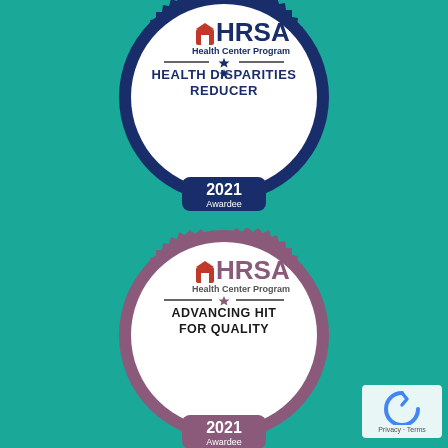[Figure (logo): HRSA Health Center Program seal/badge in navy blue with gear-like border. Text around outer ring reads 'Health Resources and Services Administration'. Center contains HRSA logo with 'Health Center Program' text, a decorative star divider, and bold text 'HEALTH DISPARITIES REDUCER'. Bottom tab reads '2021 Awardee'.]
[Figure (logo): HRSA Health Center Program seal/badge in purple/mauve with gear-like border. Text around outer ring reads 'Health Resources and Services Administration'. Center contains HRSA logo with 'Health Center Program' text, a decorative star divider, and bold text 'ADVANCING HIT FOR QUALITY'. Bottom tab partially visible with '2021'.]